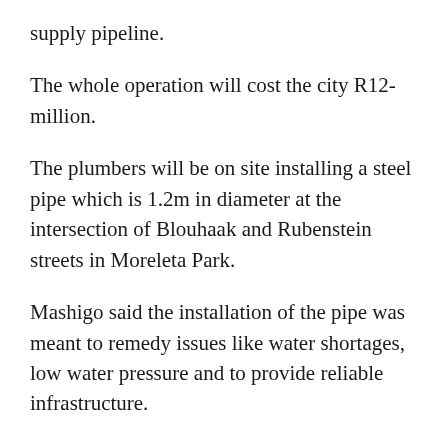supply pipeline.
The whole operation will cost the city R12-million.
The plumbers will be on site installing a steel pipe which is 1.2m in diameter at the intersection of Blouhaak and Rubenstein streets in Moreleta Park.
Mashigo said the installation of the pipe was meant to remedy issues like water shortages, low water pressure and to provide reliable infrastructure.
“Ideally we would have wanted to install a plastic pipe.
“But unfortunately they don’t make plastic pipes as big as the one we need,” Mashigo said.